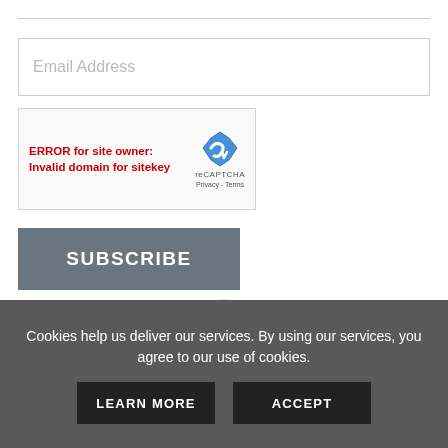Email Address
[Figure (screenshot): reCAPTCHA widget showing error: ERROR for site owner: Invalid domain for sitekey, with reCAPTCHA logo and Privacy - Terms links]
SUBSCRIBE
[Figure (illustration): 100% SECURE PROTECTED badge/seal in blue and silver]
Cookies help us deliver our services. By using our services, you agree to our use of cookies.
LEARN MORE
ACCEPT